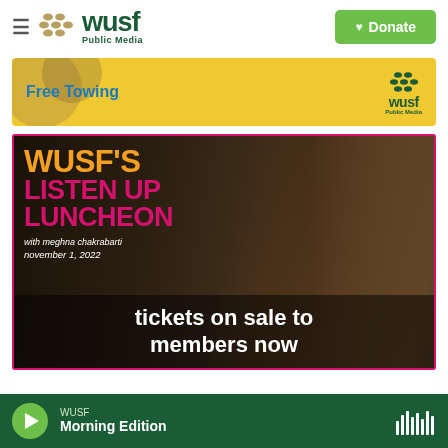[Figure (logo): WUSF Public Media logo with hamburger menu and Donate button]
[Figure (infographic): Advertisement banner for WUSF showing Free Towing promotion with yellow background]
[Figure (photo): WUSF's Listen Up Luncheon event promotion featuring Meghna Chakrabarti, november 1, 2022, tickets on sale to members now]
WUSF Morning Edition